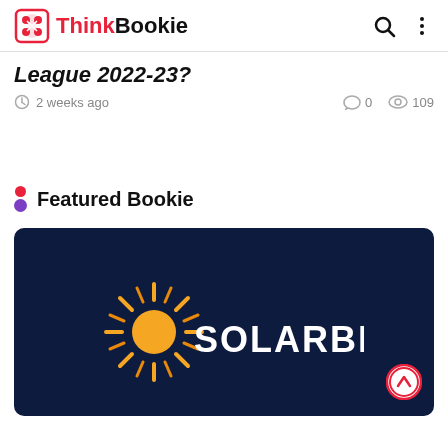ThinkBookie
League 2022-23?
2 weeks ago   0   109
Featured Bookie
[Figure (logo): Solarbet logo on dark navy background with orange sun rays icon and white SOLARBET text]